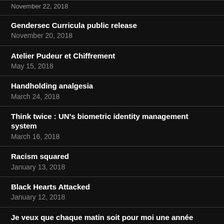November 22, 2018 (partial, top cropped)
Gendersec Curricula public release
November 20, 2018
Atelier Pudeur et Chiffrement
May 15, 2018
Handholding analgesia
March 24, 2018
Think twice : UN's biometric identity management system
March 16, 2018
Racism squared
January 13, 2018
Black Hearts Attacked
January 12, 2018
Je veux que chaque matin soit pour moi une année nouvelle
January 4, 2018
Poussy Plaisir Protocole
December 30, 2017